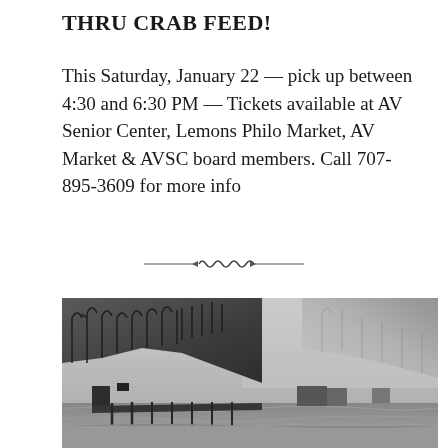THRU CRAB FEED!
This Saturday, January 22 — pick up between 4:30 and 6:30 PM — Tickets available at AV Senior Center, Lemons Philo Market, AV Market & AVSC board members. Call 707-895-3609 for more info
[Figure (illustration): Decorative ornamental divider with scrollwork design]
[Figure (photo): Black and white historical photograph showing a waterfront or riverside scene with wooden dock/pier structures, buildings on stilts or pilings, and forested hillside in the background with tall trees.]